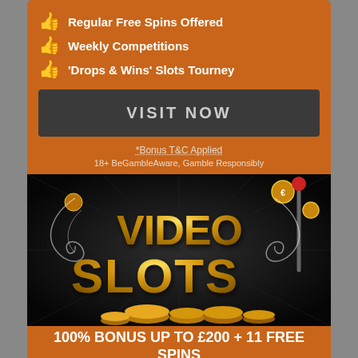Regular Free Spins Offered
Weekly Competitions
'Drops & Wins' Slots Tourney
VISIT NOW
*Bonus T&C Applied
18+ BeGambleAware, Gamble Responsibly
[Figure (illustration): Video Slots casino logo with golden 3D text 'VIDEO SLOTS' on a dark background with coins and ornamental decorations]
100% BONUS UP TO £200 + 11 FREE SPINS